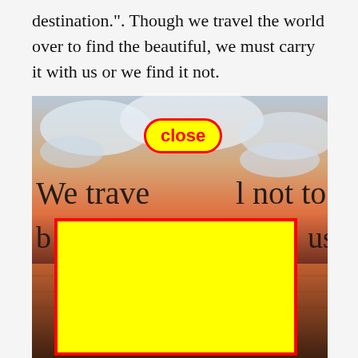destination.". Though we travel the world over to find the beautiful, we must carry it with us or we find it not.
[Figure (photo): A scenic sunset over water with cursive text overlay reading 'We travel not to escape life,' and partial text below. A large yellow rectangle with red border overlays the lower portion of the image, and a red-bordered 'close' button appears near the top center of the image.]